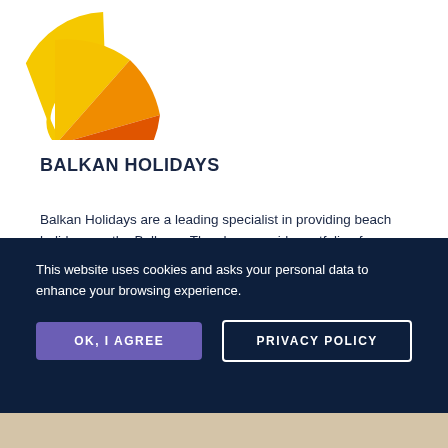[Figure (logo): Balkan Holidays logo — a fan of curved segments in yellow, orange, and red radiating from lower left]
BALKAN HOLIDAYS
Balkan Holidays are a leading specialist in providing beach holidays on the Balkans. They have a wide portfolio of properties in Bulgaria, Croatia, Slovenia and Montenegro, ranging from simple apartments up to 5*
This website uses cookies and asks your personal data to enhance your browsing experience.
OK, I AGREE
PRIVACY POLICY